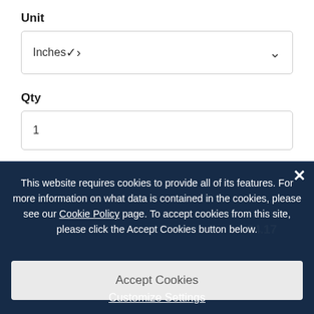Unit
[Figure (screenshot): Dropdown select box showing 'Inches' with a down chevron arrow]
Qty
[Figure (screenshot): Text input box containing the value '1']
[Figure (screenshot): Add Machining Services + button (dark blue, partially visible behind overlay)]
$4.17
This website requires cookies to provide all of its features. For more information on what data is contained in the cookies, please see our Cookie Policy page. To accept cookies from this site, please click the Accept Cookies button below.
[Figure (screenshot): Accept Cookies button (light gray)]
Customize Settings